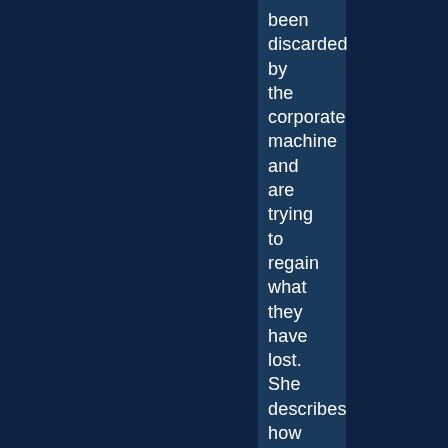been discarded by the corporate machine and are trying to regain what they have lost. She describes how her quest for a